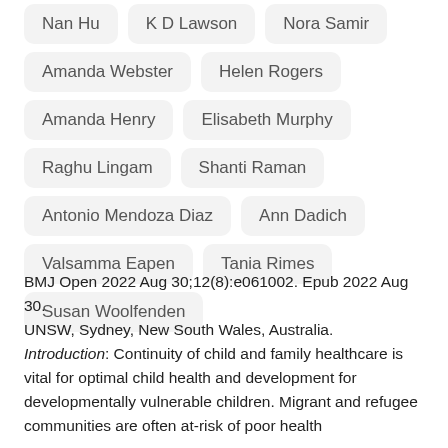Nan Hu
K D Lawson
Nora Samir
Amanda Webster
Helen Rogers
Amanda Henry
Elisabeth Murphy
Raghu Lingam
Shanti Raman
Antonio Mendoza Diaz
Ann Dadich
Valsamma Eapen
Tania Rimes
Susan Woolfenden
BMJ Open 2022 Aug 30;12(8):e061002. Epub 2022 Aug 30.
UNSW, Sydney, New South Wales, Australia.
Introduction: Continuity of child and family healthcare is vital for optimal child health and development for developmentally vulnerable children. Migrant and refugee communities are often at-risk of poor health